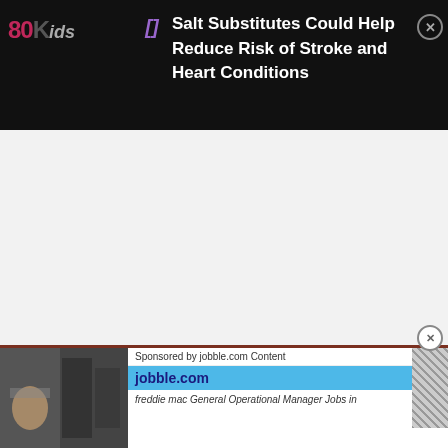80Kids — Salt Substitutes Could Help Reduce Risk of Stroke and Heart Conditions
[Figure (screenshot): White blank content area in the middle of the page]
[Figure (screenshot): Advertisement banner at the bottom: Sponsored by jobble.com Content — jobble.com — freddie mac General Operational Manager Jobs in — LEARN MORE button]
Sponsored by jobble.com Content
jobble.com
freddie mac General Operational Manager Jobs in